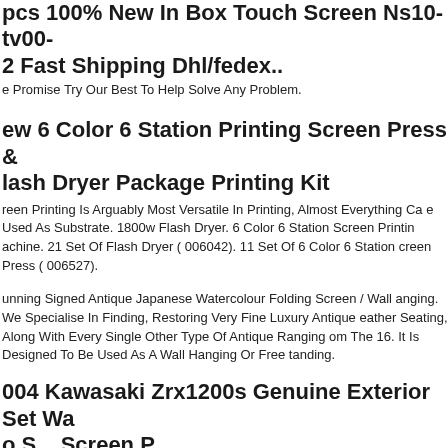pcs 100% New In Box Touch Screen Ns10-tv00-2 Fast Shipping Dhl/fedex..
e Promise Try Our Best To Help Solve Any Problem.
ew 6 Color 6 Station Printing Screen Press & lash Dryer Package Printing Kit
reen Printing Is Arguably Most Versatile In Printing, Almost Everything Ca e Used As Substrate. 1800w Flash Dryer. 6 Color 6 Station Screen Printin achine. 21 Set Of Flash Dryer ( 006042). 11 Set Of 6 Color 6 Station creen Press ( 006527).
unning Signed Antique Japanese Watercolour Folding Screen / Wall anging. We Specialise In Finding, Restoring Very Fine Luxury Antique eather Seating, Along With Every Single Other Type Of Antique Ranging om The 16. It Is Designed To Be Used As A Wall Hanging Or Free tanding.
004 Kawasaki Zrx1200s Genuine Exterior Set W... o S... Screen P...